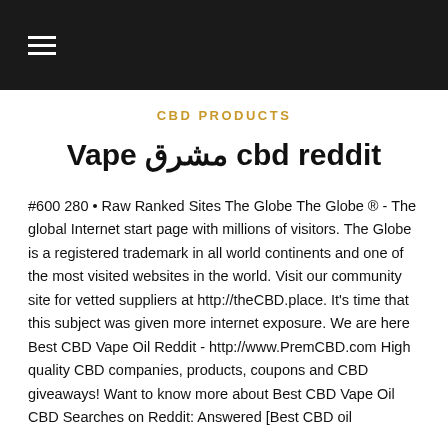☰
CBD PRODUCTS
Vape مشرق cbd reddit
#600 280 • Raw Ranked Sites The Globe The Globe ® - The global Internet start page with millions of visitors. The Globe is a registered trademark in all world continents and one of the most visited websites in the world. Visit our community site for vetted suppliers at http://theCBD.place. It's time that this subject was given more internet exposure. We are here Best CBD Vape Oil Reddit - http://www.PremCBD.com High quality CBD companies, products, coupons and CBD giveaways! Want to know more about Best CBD Vape Oil CBD Searches on Reddit: Answered [Best CBD oil